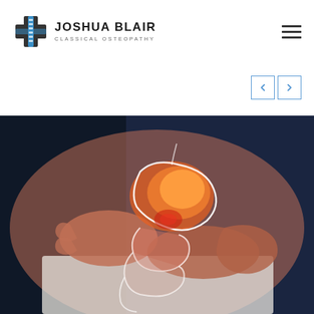JOSHUA BLAIR CLASSICAL OSTEOPATHY
[Figure (logo): Joshua Blair Classical Osteopathy logo with a cross/spine icon in black and blue]
[Figure (photo): Person holding their abdomen with a glowing anatomical illustration of the stomach and intestines overlaid on the image, suggesting digestive pain or condition]